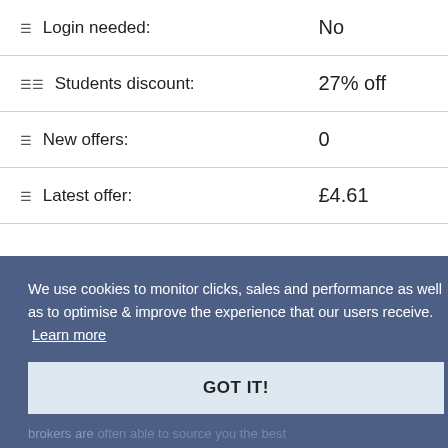| Label | Value |
| --- | --- |
| ☰ Login needed: | No |
| ☰☰ Students discount: | 27% off |
| ☰ New offers: | 0 |
| ☰ Latest offer: | £4.61 |
We use cookies to monitor clicks, sales and performance as well as to optimise & improve the experience that our users receive. Learn more
GOT IT!